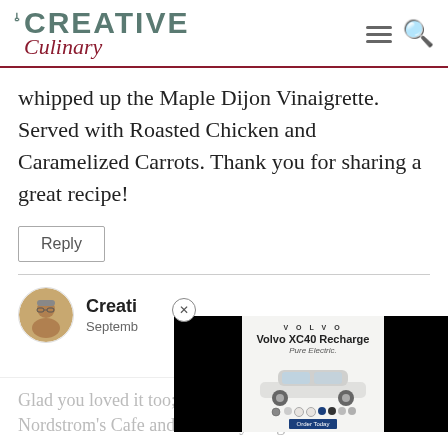Creative Culinary
whipped up the Maple Dijon Vinaigrette. Served with Roasted Chicken and Caramelized Carrots. Thank you for sharing a great recipe!
Reply
[Figure (other): Volvo XC40 Recharge Pure Electric advertisement overlay with black side panels]
Creati... September...
Glad you loved it too; I can not go to Nordstrom's Cafe and order anything but this